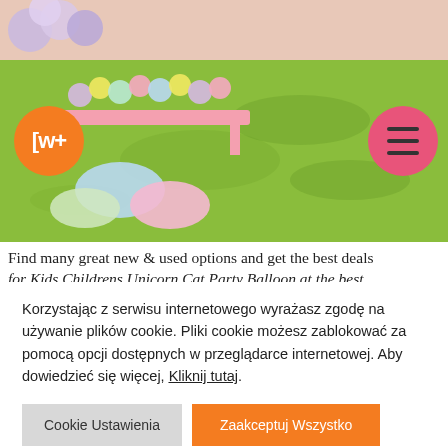[Figure (photo): Outdoor party scene with colorful balloons, a pink table with treats, pillows on green grass background]
Find many great new & used options and get the best deals for Kids Childrens Unicorn Cat Party Balloon at the best
Korzystając z serwisu internetowego wyrażasz zgodę na używanie plików cookie. Pliki cookie możesz zablokować za pomocą opcji dostępnych w przeglądarce internetowej. Aby dowiedzieć się więcej, Kliknij tutaj.
Cookie Ustawienia
Zaakceptuj Wszystko